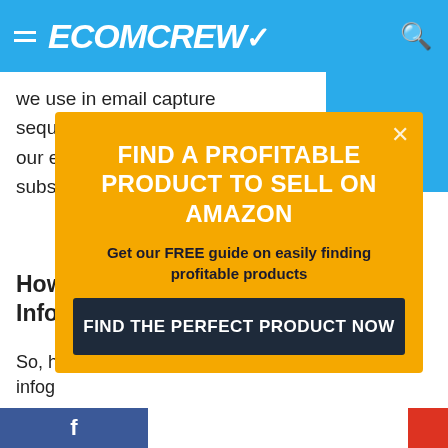ECOMCREW
we use in email capture sequences or as a treat to our existing email subscribers.
ger.
How Info
So, ho infog
F
[Figure (screenshot): Modal popup with orange background. Title: FIND A PROFITABLE PRODUCT TO SELL ON AMAZON. Subtitle: Get our FREE guide on easily finding profitable products. Button: FIND THE PERFECT PRODUCT NOW]